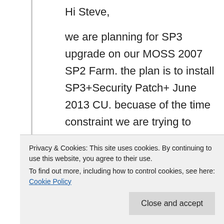Hi Steve,

we are planning for SP3 upgrade on our MOSS 2007 SP2 Farm. the plan is to install SP3+Security Patch+ June 2013 CU. becuase of the time constraint we are trying to install SP3 on all mOSS servers on day1 and on day 2 Security patch and June 2013 CU. SO one day2 we will run PSCONFIG.
My question is – DO we have any issues in leaving the servers for 1 day with out running
Privacy & Cookies: This site uses cookies. By continuing to use this website, you agree to their use.
To find out more, including how to control cookies, see here: Cookie Policy